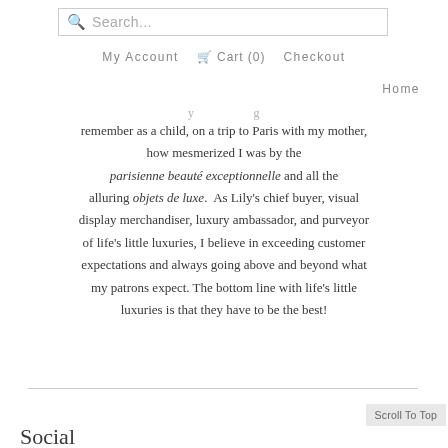Search... My Account Cart (0) Checkout Home
remember as a child, on a trip to Paris with my mother, how mesmerized I was by the parisienne beauté exceptionnelle and all the alluring objets de luxe. As Lily's chief buyer, visual display merchandiser, luxury ambassador, and purveyor of life's little luxuries, I believe in exceeding customer expectations and always going above and beyond what my patrons expect. The bottom line with life's little luxuries is that they have to be the best!
Social